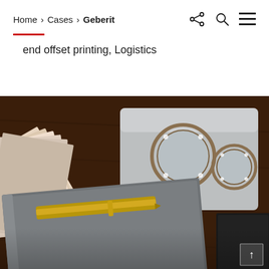Home > Cases > Geberit
end offset printing, Logistics
[Figure (photo): Product photo showing Geberit flush plate with two round buttons in silver/gold finish on a dark wooden surface, alongside a gray notebook with a gold pen, and color sample cards fanned out on the left.]